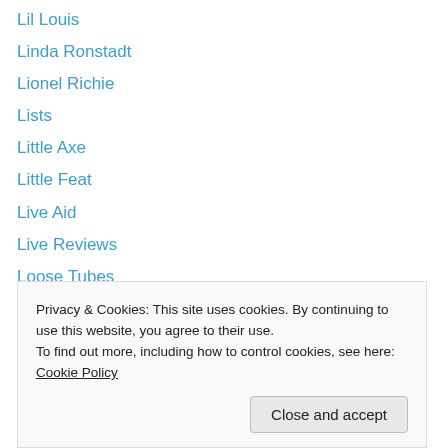Lil Louis
Linda Ronstadt
Lionel Richie
Lists
Little Axe
Little Feat
Live Aid
Live Reviews
Loose Tubes
Lou Reed
Love and Money
Lyle Mays
Madness
Privacy & Cookies: This site uses cookies. By continuing to use this website, you agree to their use. To find out more, including how to control cookies, see here: Cookie Policy
Marc Johnson